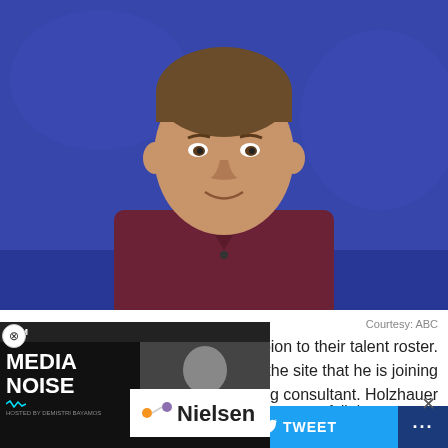[Figure (photo): Young man with short brown hair wearing a dark maroon/burgundy shirt, smiling, in front of a blue background — appears to be a Jeopardy! contestant photo]
Courtesy: ABC
ampion to their talent roster. d on the site that he is joining ing consultant. Holzhauer atches on Jeopardy! in 2019.
Before Jeopardy!, the gameshow regular was a full-time sports bettor, using Excel spreadsheets and overlooked
[Figure (screenshot): Overlay ad for BSM Media Noise podcast Episode 87: Stephen A & Nielsen Break New Ground, featuring Nielsen logo]
f SHARE   🐦 TWEET   ...